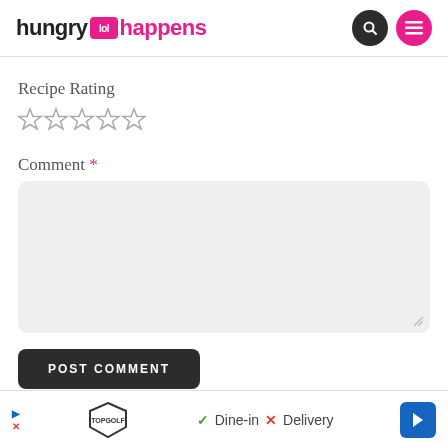hungry happens
Recipe Rating
[Figure (other): Five empty star rating icons]
Comment *
[Figure (other): Empty comment text area input box with resize handle]
POST COMMENT
[Figure (other): Advertisement banner showing TopGolf logo with Dine-in and Delivery options and navigation arrow]